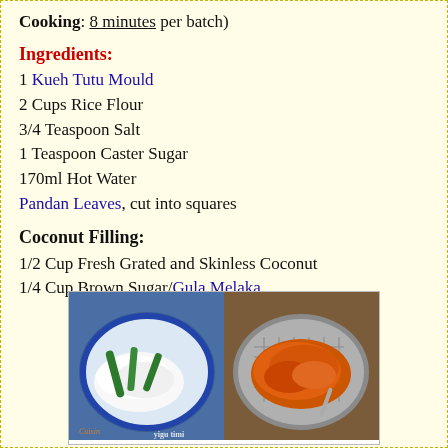Cooking: 8 minutes per batch)
Ingredients:
1 Kueh Tutu Mould
2 Cups Rice Flour
3/4 Teaspoon Salt
1 Teaspoon Caster Sugar
170ml Hot Water
Pandan Leaves, cut into squares
Coconut Filling:
1/2 Cup Fresh Grated and Skinless Coconut
1/4 Cup Brown Sugar/Gula Melaka
[Figure (photo): Two-panel photo showing left: white grated coconut with pandan leaves on a blue patterned plate; right: orange-brown coconut filling with gula melaka on a metal plate. Watermark text visible at bottom.]